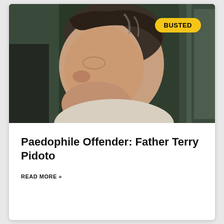[Figure (photo): Side profile of an older man with grey-streaked dark hair, wearing a light cream/beige sweater, photographed outdoors with a dark green background. A yellow 'BUSTED' badge appears in the upper right corner of the image.]
Paedophile Offender: Father Terry Pidoto
READ MORE »